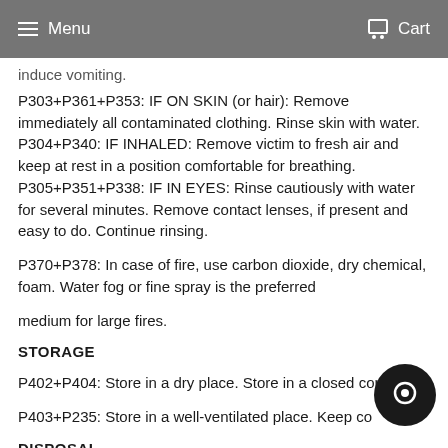Menu  Cart
induce vomiting. P303+P361+P353: IF ON SKIN (or hair): Remove immediately all contaminated clothing. Rinse skin with water. P304+P340: IF INHALED: Remove victim to fresh air and keep at rest in a position comfortable for breathing. P305+P351+P338: IF IN EYES: Rinse cautiously with water for several minutes. Remove contact lenses, if present and easy to do. Continue rinsing.
P370+P378: In case of fire, use carbon dioxide, dry chemical, foam. Water fog or fine spray is the preferred
medium for large fires.
STORAGE
P402+P404: Store in a dry place. Store in a closed container.
P403+P235: Store in a well-ventilated place. Keep co
DISPOSAL